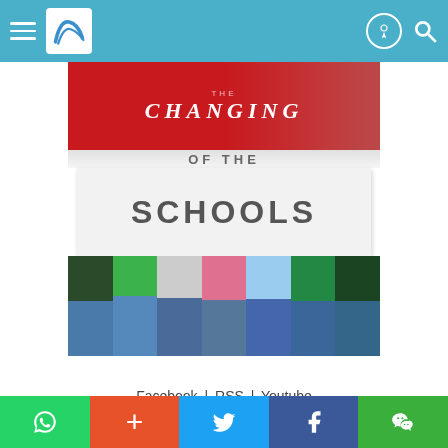Navigation bar with hamburger menu, SingaporeExpats logo, and search/user icons
[Figure (photo): Banner image with red top section showing 'CHANGING' text, white middle section showing 'SCHOOLS' text, and bottom section showing people holding the sign with colorful clothing]
Facebook | RSS | Youtube
Singapore Expats - The Leading Expatriate & Singapore Property Portal Singapore Property, Singapore guide on expat relocation, Singapore housing, living. Sales, rental of apartment, Singapore condo, house, HDB flat. Copyright © 2002 to 2022 SingaporeExpats.com Pte Ltd, All Rights Reserved. Terms and Conditions of Use.
Social sharing bar with WhatsApp, Plus, Twitter, Facebook, WeChat buttons